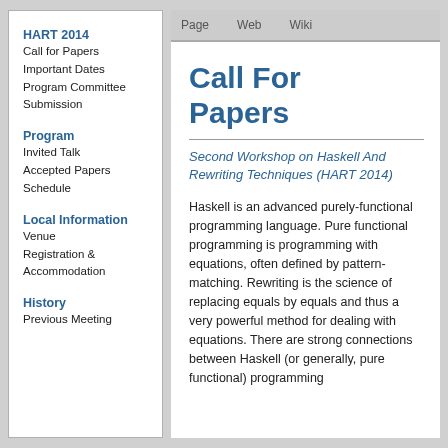HART 2014
Call for Papers
Important Dates
Program Committee
Submission
Program
Invited Talk
Accepted Papers
Schedule
Local Information
Venue
Registration & Accommodation
History
Previous Meeting
Page   Web   Wiki
Call For Papers
Second Workshop on Haskell And Rewriting Techniques (HART 2014)
Haskell is an advanced purely-functional programming language. Pure functional programming is programming with equations, often defined by pattern-matching. Rewriting is the science of replacing equals by equals and thus a very powerful method for dealing with equations. There are strong connections between Haskell (or generally, pure functional) programming...